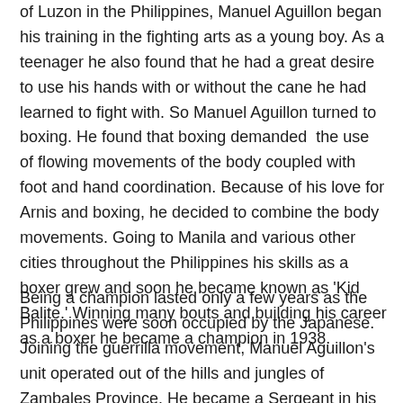of Luzon in the Philippines, Manuel Aguillon began his training in the fighting arts as a young boy. As a teenager he also found that he had a great desire to use his hands with or without the cane he had learned to fight with. So Manuel Aguillon turned to boxing. He found that boxing demanded the use of flowing movements of the body coupled with foot and hand coordination. Because of his love for Arnis and boxing, he decided to combine the body movements. Going to Manila and various other cities throughout the Philippines his skills as a boxer grew and soon he became known as 'Kid Balite.' Winning many bouts and building his career as a boxer he became a champion in 1938.
Being a champion lasted only a few years as the Philippines were soon occupied by the Japanese. Joining the guerrilla movement, Manuel Aguillon's unit operated out of the hills and jungles of Zambales Province. He became a Sergeant in his unit and wanted his men to know how to defend